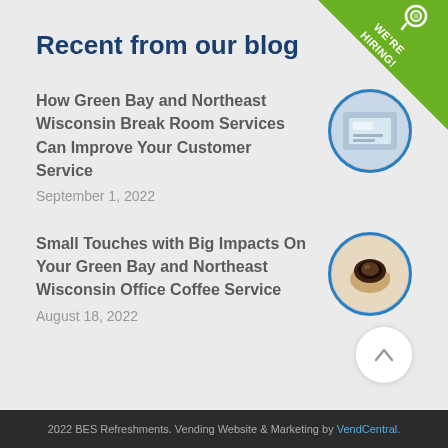[Figure (infographic): Green diagonal 'WE'RE HIRING!' ribbon banner in top-right corner with magnifying glass icon]
Recent from our blog
How Green Bay and Northeast Wisconsin Break Room Services Can Improve Your Customer Service
September 1, 2022
[Figure (photo): Circular thumbnail photo of break room / customer service related image]
Small Touches with Big Impacts On Your Green Bay and Northeast Wisconsin Office Coffee Service
August 18, 2022
[Figure (photo): Circular thumbnail photo of coffee cup and pastry]
[Figure (other): Scroll-to-top arrow button (circle with upward arrow)]
2022 BES Refreshments. Vending Website & Marketing by VendCentral.